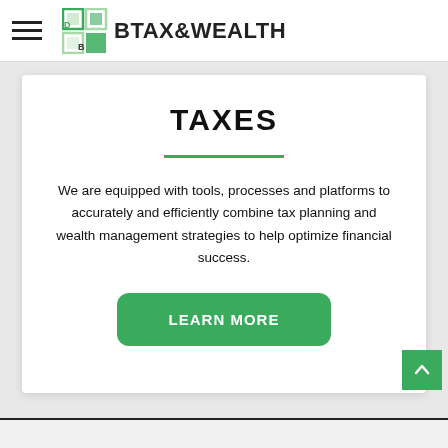DB TAX&WEALTH
TAXES
We are equipped with tools, processes and platforms to accurately and efficiently combine tax planning and wealth management strategies to help optimize financial success.
LEARN MORE